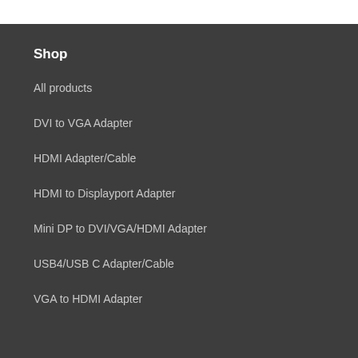Shop
All products
DVI to VGA Adapter
HDMI Adapter/Cable
HDMI to Displayport Adapter
Mini DP to DVI/VGA/HDMI Adapter
USB4/USB C Adapter/Cable
VGA to HDMI Adapter